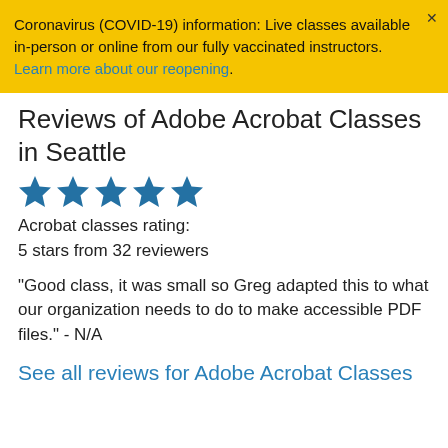Coronavirus (COVID-19) information: Live classes available in-person or online from our fully vaccinated instructors. Learn more about our reopening.
Reviews of Adobe Acrobat Classes in Seattle
[Figure (other): Five blue star rating icons]
Acrobat classes rating:
5 stars from 32 reviewers
"Good class, it was small so Greg adapted this to what our organization needs to do to make accessible PDF files." - N/A
See all reviews for Adobe Acrobat Classes